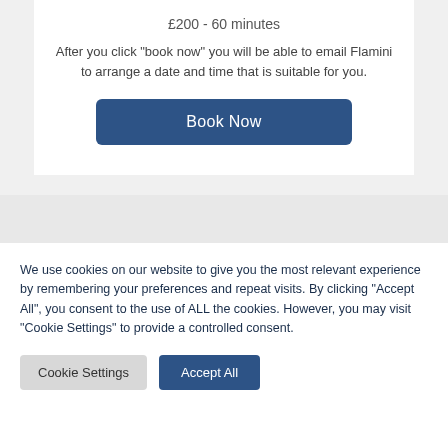£200 - 60 minutes
After you click "book now" you will be able to email Flamini to arrange a date and time that is suitable for you.
Book Now
We use cookies on our website to give you the most relevant experience by remembering your preferences and repeat visits. By clicking "Accept All", you consent to the use of ALL the cookies. However, you may visit "Cookie Settings" to provide a controlled consent.
Cookie Settings
Accept All